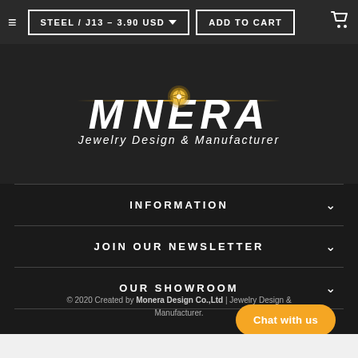STEEL / J13 – 3.90 USD  ADD TO CART
[Figure (logo): Monera Jewelry Design & Manufacturer logo with gold star/compass emblem and stylized italic white text on dark background]
INFORMATION
JOIN OUR NEWSLETTER
OUR SHOWROOM
© 2020 Created by Monera Design Co.,Ltd | Jewelry Design & Manufacturer.
Chat with us